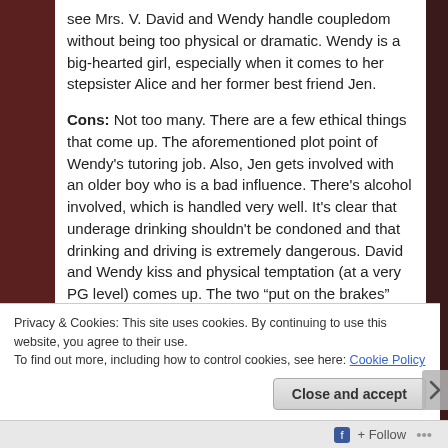see Mrs. V. David and Wendy handle coupledom without being too physical or dramatic. Wendy is a big-hearted girl, especially when it comes to her stepsister Alice and her former best friend Jen.
Cons: Not too many. There are a few ethical things that come up. The aforementioned plot point of Wendy's tutoring job. Also, Jen gets involved with an older boy who is a bad influence. There's alcohol involved, which is handled very well. It's clear that underage drinking shouldn't be condoned and that drinking and driving is extremely dangerous. David and Wendy kiss and physical temptation (at a very PG level) comes up. The two “put on the brakes” fast so the story doesn’t go far with this.
Privacy & Cookies: This site uses cookies. By continuing to use this website, you agree to their use.
To find out more, including how to control cookies, see here: Cookie Policy